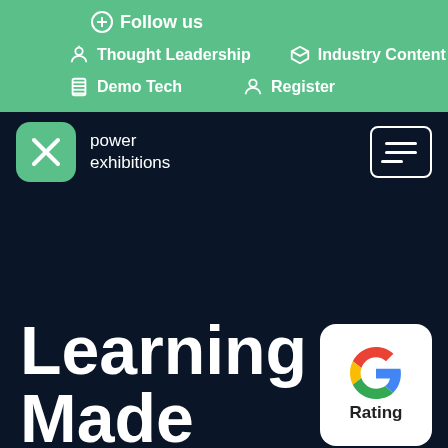Follow us
Thought Leadership
Industry Content
Demo Tech
Register
[Figure (logo): Power Exhibitions logo — green rounded square with white X icon, next to text 'power exhibitions']
Learning
Made
[Figure (logo): Google G logo with text 'Rating' below it, in a white rounded card]